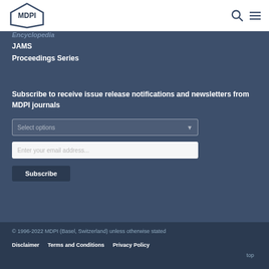[Figure (logo): MDPI hexagonal logo in blue/navy]
Encyclopedia
JAMS
Proceedings Series
Subscribe to receive issue release notifications and newsletters from MDPI journals
© 1996-2022 MDPI (Basel, Switzerland) unless otherwise stated
Disclaimer   Terms and Conditions   Privacy Policy